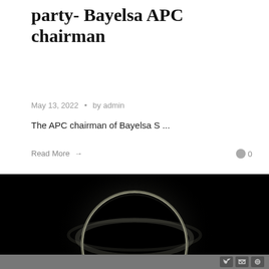party- Bayelsa APC chairman
May 13, 2022  •  by admin
The APC chairman of Bayelsa S ...
Read More →
0
[Figure (photo): Solar eclipse photo showing dark moon silhouette with bright corona glow, displayed in a video player with play button and progress bar controls]